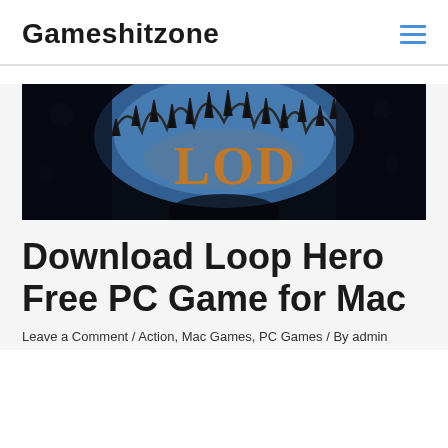Gameshitzone
[Figure (screenshot): Loop Hero game banner image with dark background showing fantasy game logo with orange gothic lettering and a spiky crown-like arc shape against blue sky]
Download Loop Hero Free PC Game for Mac
Leave a Comment / Action, Mac Games, PC Games / By admin